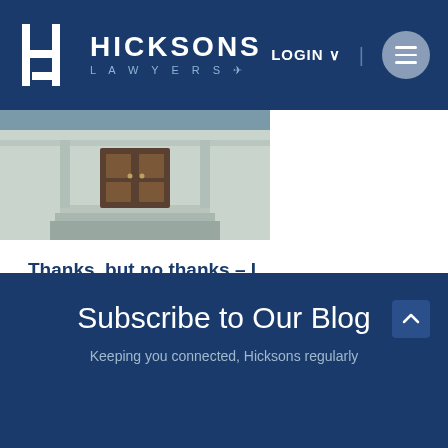HICKSONS LAWYERS — LOGIN
[Figure (photo): Photo of a building entrance with steps and an orange/brown door, teal walls]
Thanks, but no thanks – I don't want to inherit
It seems odd that anybody would reject an inheritance, but...
Siew Tong
21 Sep 2016
Subscribe to Our Blog
Keeping you connected, Hicksons regularly